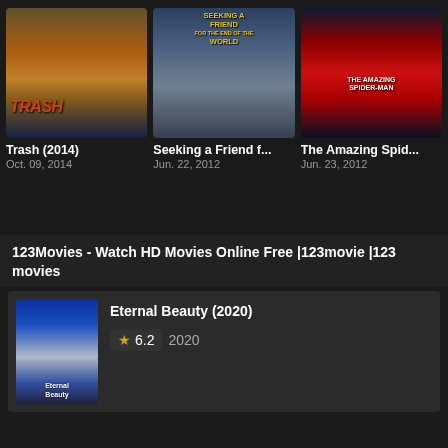[Figure (photo): Movie poster for Trash (2014) showing two young men with warm sunset tones and red title text]
Trash (2014)
Oct. 09, 2014
[Figure (photo): Movie poster for Seeking a Friend for the End of the World showing a couple with yellow title text on dark sky]
Seeking a Friend f...
Jun. 22, 2012
[Figure (photo): Movie poster for The Amazing Spider-Man showing Spider-Man in red and blue suit]
The Amazing Spid...
Jun. 23, 2012
123Movies - Watch HD Movies Online Free |123movie |123 movies
[Figure (photo): Movie poster for Eternal Beauty (2020) showing a woman with blue tones]
Eternal Beauty (2020)
6.2
2020